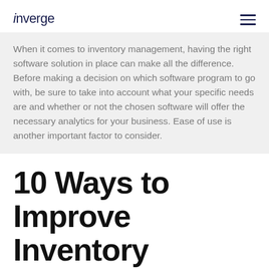inverge
When it comes to inventory management, having the right software solution in place can make all the difference. Before making a decision on which software program to go with, be sure to take into account what your specific needs are and whether or not the chosen software will offer the necessary analytics for your business. Ease of use is another important factor to consider.
10 Ways to Improve Inventory Management